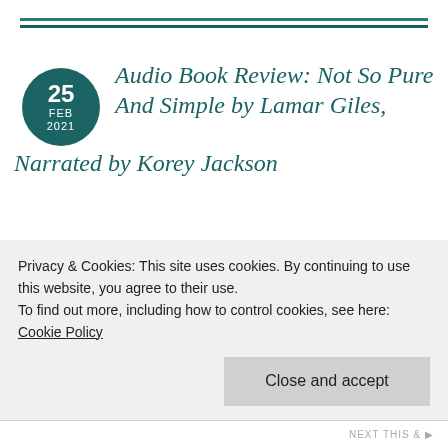Audio Book Review: Not So Pure And Simple by Lamar Giles, Narrated by Korey Jackson
posted in Audiobooks, Books, diverse books
Book: Not So Pure And Simple by Lamar
[Figure (photo): Book cover with colorful abstract design in red, teal, and yellow/orange tones. Blurb text: 'Realistic... hysterical, I couldn't put it down —Nic Stone, New York Times bestselling author of Dear Martin']
Privacy & Cookies: This site uses cookies. By continuing to use this website, you agree to their use. To find out more, including how to control cookies, see here: Cookie Policy
Close and accept